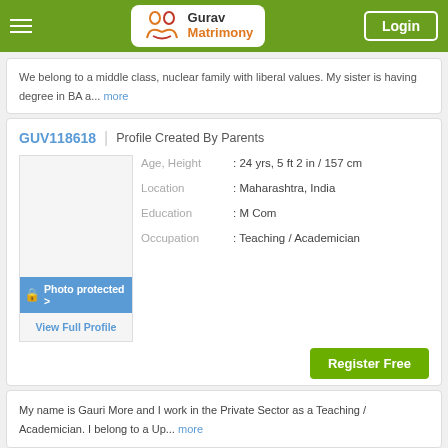Gurav Matrimony — Login
We belong to a middle class, nuclear family with liberal values. My sister is having degree in BA a... more
GUV118618 | Profile Created By Parents
[Figure (photo): Photo protected placeholder with lock icon and View Full Profile link]
Age, Height : 24 yrs, 5 ft 2 in / 157 cm
Location : Maharashtra, India
Education : M Com
Occupation : Teaching / Academician
Register Free
My name is Gauri More and I work in the Private Sector as a Teaching / Academician. I belong to a Up... more
Guravshaadi is part of Samudayshaadi.com | Copyright © 2022. All